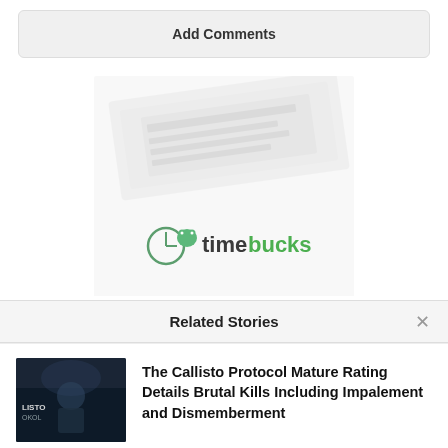Add Comments
[Figure (logo): Timebucks advertisement banner with logo showing a clock and frog icon and the text 'timebucks' in green, overlaid on a faded document background]
Related Stories
The Callisto Protocol Mature Rating Details Brutal Kills Including Impalement and Dismemberment